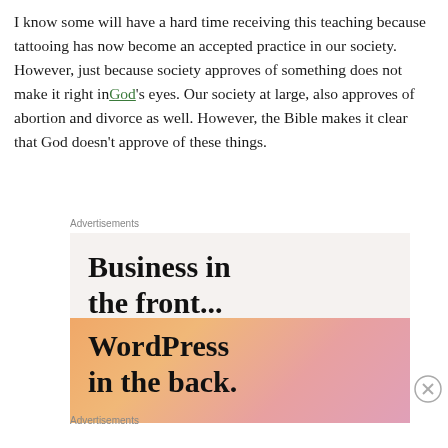I know some will have a hard time receiving this teaching because tattooing has now become an accepted practice in our society. However, just because society approves of something does not make it right in God's eyes. Our society at large, also approves of abortion and divorce as well. However, the Bible makes it clear that God doesn't approve of these things.
Advertisements
[Figure (infographic): Advertisement banner with two sections: top light beige background with bold text 'Business in the front...' and bottom gradient orange-to-pink background with bold text 'WordPress in the back.']
Advertisements